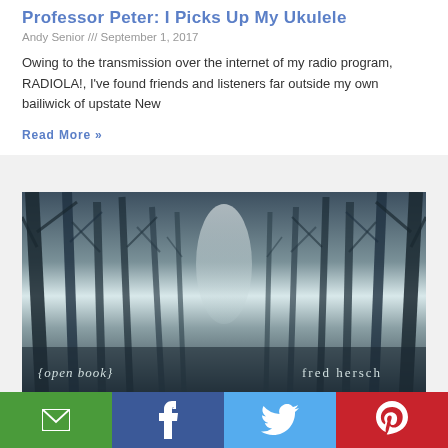Professor Peter: I Picks Up My Ukulele
Andy Senior /// September 1, 2017
Owing to the transmission over the internet of my radio program, RADIOLA!, I've found friends and listeners far outside my own bailiwick of upstate New
Read More »
[Figure (photo): Book cover for '{open book}' by fred hersch, showing a foggy forest path with bare trees in muted blue-grey tones. Text at bottom left reads '{open book}' and bottom right reads 'fred hersch'.]
Email | Facebook | Twitter | Pinterest share buttons